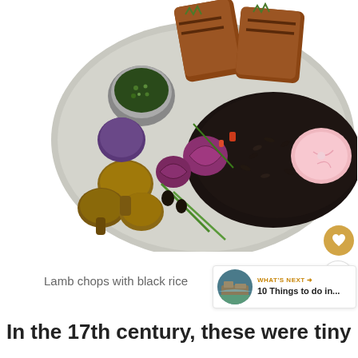[Figure (photo): A plate of lamb chops with black rice, mushrooms, purple potatoes, red onions, herbs, and a small bowl of sauce/chimichurri on a speckled ceramic plate]
Lamb chops with black rice
In the 17th century, these were tiny...